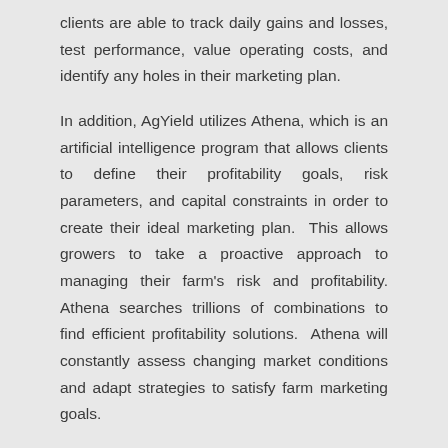clients are able to track daily gains and losses, test performance, value operating costs, and identify any holes in their marketing plan.
In addition, AgYield utilizes Athena, which is an artificial intelligence program that allows clients to define their profitability goals, risk parameters, and capital constraints in order to create their ideal marketing plan. This allows growers to take a proactive approach to managing their farm's risk and profitability. Athena searches trillions of combinations to find efficient profitability solutions. Athena will constantly assess changing market conditions and adapt strategies to satisfy farm marketing goals.
Athena will provide tailored recommendations